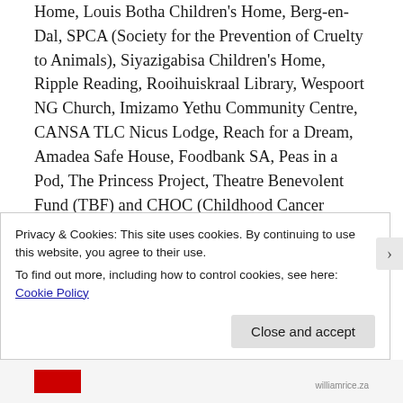Home, Louis Botha Children's Home, Berg-en-Dal, SPCA (Society for the Prevention of Cruelty to Animals), Siyazigabisa Children's Home, Ripple Reading, Rooihuiskraal Library, Wespoort NG Church, Imizamo Yethu Community Centre, CANSA TLC Nicus Lodge, Reach for a Dream, Amadea Safe House, Foodbank SA, Peas in a Pod, The Princess Project, Theatre Benevolent Fund (TBF) and CHOC (Childhood Cancer Foundation).
Words such as “charity” and “philanthropy” describe a voluntary act, a matter of kindness rather than duty. For us giving back is more a duty
Privacy & Cookies: This site uses cookies. By continuing to use this website, you agree to their use.
To find out more, including how to control cookies, see here:
Cookie Policy